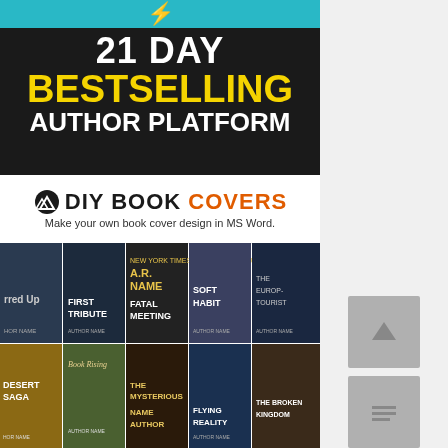[Figure (illustration): Book cover banner for '21 Day Bestselling Author Platform' with black background, yellow lightning bolt, white and yellow bold text, on a teal top stripe.]
[Figure (logo): DIY Book Covers logo with mountain icon, 'DIY' in black bold, 'BOOK' in black bold, 'COVERS' in orange bold. Tagline: 'Make your own book cover design in MS Word.']
[Figure (photo): Grid of book cover designs including titles: 'First Tribute', 'A.R. Name - Fatal Meeting', 'Soft Habit', 'The European Tourist', 'Desert Saga', 'Back Rising', 'The Mysterious Name Author', 'Flying Reality', 'The Broken Kingdom', and more.]